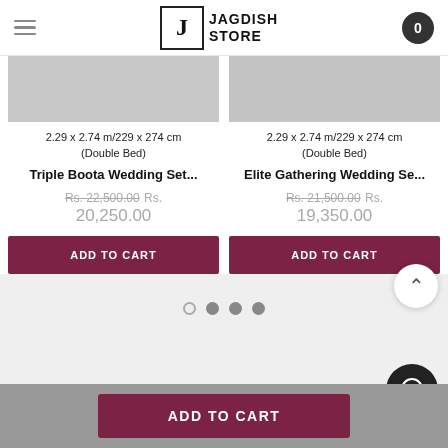Jagdish Store — navigation header with hamburger menu and cart icon
[Figure (screenshot): Product image placeholder top of card 1 (grey rectangle)]
2.29 x 2.74 m/229 x 274 cm (Double Bed)
Triple Boota Wedding Set...
Rs. 22,500.00  Rs. 20,250.00
[Figure (screenshot): Product image placeholder top of card 2 (grey rectangle)]
2.29 x 2.74 m/229 x 274 cm (Double Bed)
Elite Gathering Wedding Se...
Rs. 21,500.00  Rs. 19,350.00
ADD TO CART
ADD TO CART
ADD TO CART